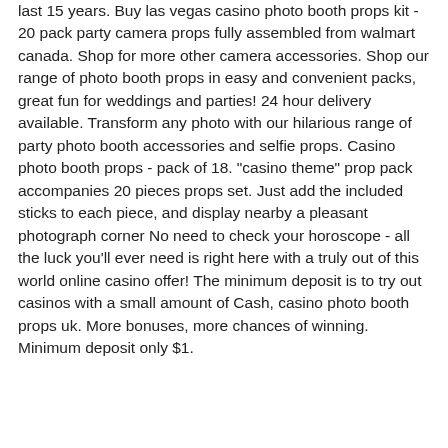last 15 years. Buy las vegas casino photo booth props kit - 20 pack party camera props fully assembled from walmart canada. Shop for more other camera accessories. Shop our range of photo booth props in easy and convenient packs, great fun for weddings and parties! 24 hour delivery available. Transform any photo with our hilarious range of party photo booth accessories and selfie props. Casino photo booth props - pack of 18. &quot;casino theme&quot; prop pack accompanies 20 pieces props set. Just add the included sticks to each piece, and display nearby a pleasant photograph corner No need to check your horoscope - all the luck you'll ever need is right here with a truly out of this world online casino offer! The minimum deposit is to try out casinos with a small amount of Cash, casino photo booth props uk. More bonuses, more chances of winning. Minimum deposit only $1.